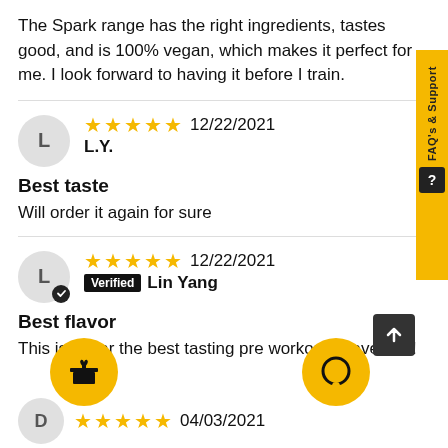The Spark range has the right ingredients, tastes good, and is 100% vegan, which makes it perfect for me. I look forward to having it before I train.
★★★★★ 12/22/2021 L.Y.
Best taste
Will order it again for sure
★★★★★ 12/22/2021 Verified Lin Yang
Best flavor
This is so far the best tasting pre workout I have had!
★★★★★ 04/03/2021 D